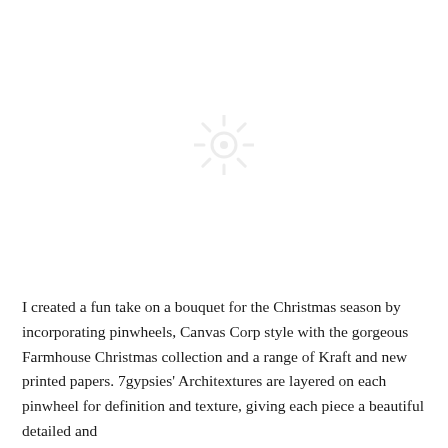[Figure (photo): Large image area showing a Christmas bouquet with pinwheels (image not loaded, placeholder shown)]
I created a fun take on a bouquet for the Christmas season by incorporating pinwheels, Canvas Corp style with the gorgeous Farmhouse Christmas collection and a range of Kraft and new printed papers. 7gypsies' Architextures are layered on each pinwheel for definition and texture, giving each piece a beautiful detailed and